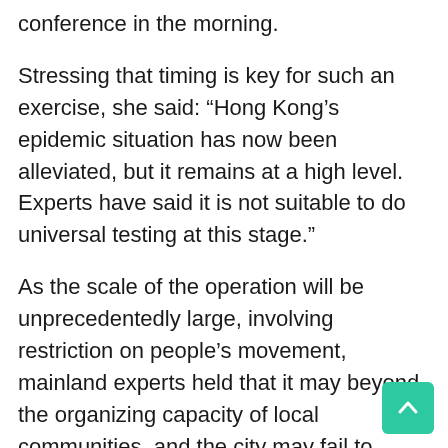conference in the morning.
Stressing that timing is key for such an exercise, she said: “Hong Kong’s epidemic situation has now been alleviated, but it remains at a high level. Experts have said it is not suitable to do universal testing at this stage.”
As the scale of the operation will be unprecedentedly large, involving restriction on people’s movement, mainland experts held that it may beyond the organizing capacity of local communities, and the city may fail to achieve the goal of universal screening.
She stressed that the suspension does not mean the city plans to co-exist with the virus.